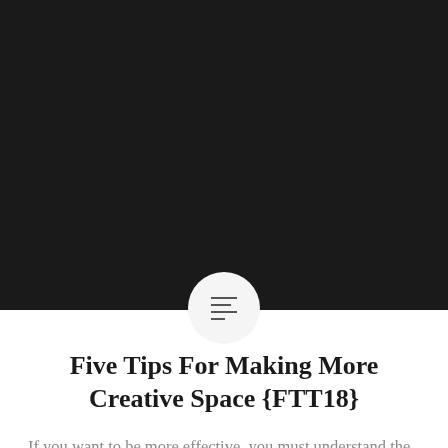[Figure (photo): Large dark/black hero image at the top of the page, nearly full width, with a circular icon overlapping the bottom edge containing a menu/list icon (hamburger-style lines).]
Five Tips For Making More Creative Space {FTT18}
If you want to be more effective, you must understand the